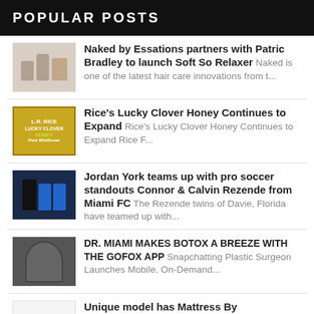POPULAR POSTS
Naked by Essations partners with Patric Bradley to launch Soft So Relaxer Naked is one of the latest hair care innovations from t...
Rice's Lucky Clover Honey Continues to Expand Rice's Lucky Clover Honey Continues to Expand Rice F...
Jordan York teams up with pro soccer standouts Connor & Calvin Rezende from Miami FC The Rezende twins of Davie, Florida have teamed up with...
DR. MIAMI MAKES BOTOX A BREEZE WITH THE GOFOX APP Snapchatting Plastic Surgeon Launches Mobile, On-Demand...
Unique model has Mattress By Appointment disrupting traditional retail